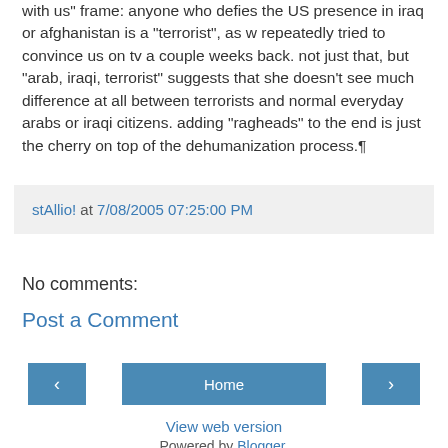with us" frame: anyone who defies the US presence in iraq or afghanistan is a "terrorist", as w repeatedly tried to convince us on tv a couple weeks back. not just that, but "arab, iraqi, terrorist" suggests that she doesn't see much difference at all between terrorists and normal everyday arabs or iraqi citizens. adding "ragheads" to the end is just the cherry on top of the dehumanization process.¶
stAllio! at 7/08/2005 07:25:00 PM
No comments:
Post a Comment
‹
Home
›
View web version
Powered by Blogger.